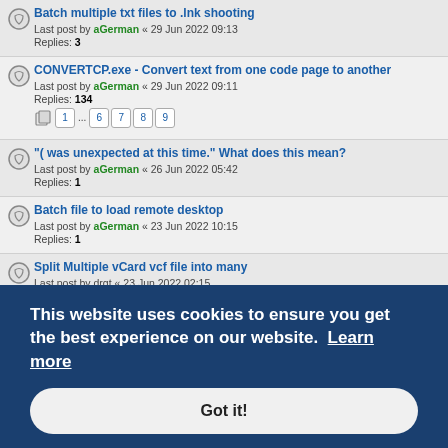Batch multiple txt files to .lnk shooting
Last post by aGerman « 29 Jun 2022 09:13
Replies: 3
CONVERTCP.exe - Convert text from one code page to another
Last post by aGerman « 29 Jun 2022 09:11
Replies: 134
Pages: 1 ... 6 7 8 9
"( was unexpected at this time." What does this mean?
Last post by aGerman « 26 Jun 2022 05:42
Replies: 1
Batch file to load remote desktop
Last post by aGerman « 23 Jun 2022 10:15
Replies: 1
Split Multiple vCard vcf file into many
Last post by drgt « 23 Jun 2022 02:15
Replies: 6
Debug and Rate AI code
Last post by RedBeard « 20 Jun 2022 16:07
How can I make two variables related, so setting one sets the other... king &
Replies: 6
This website uses cookies to ensure you get the best experience on our website. Learn more
Got it!